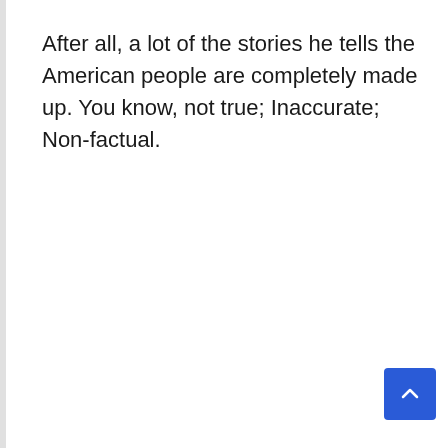After all, a lot of the stories he tells the American people are completely made up. You know, not true; Inaccurate; Non-factual.